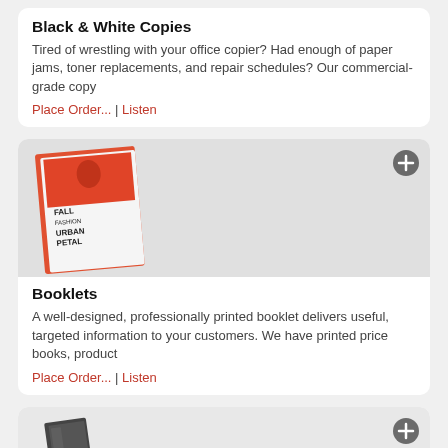Black & White Copies
Tired of wrestling with your office copier? Had enough of paper jams, toner replacements, and repair schedules? Our commercial-grade copy
Place Order... | Listen
[Figure (photo): Booklet with fall fashion Urban Petal cover design]
Booklets
A well-designed, professionally printed booklet delivers useful, targeted information to your customers. We have printed price books, product
Place Order... | Listen
[Figure (photo): Dark brochure tri-fold product standing upright]
Brochures
Brochures from Cordes Printing have two main benefits. They amount to an inexpensive investment but generate tangible results for your
Place Order... | Listen